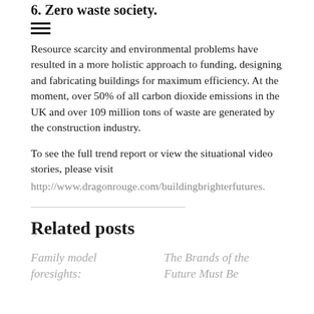6. Zero waste society.
Resource scarcity and environmental problems have resulted in a more holistic approach to funding, designing and fabricating buildings for maximum efficiency. At the moment, over 50% of all carbon dioxide emissions in the UK and over 109 million tons of waste are generated by the construction industry.
To see the full trend report or view the situational video stories, please visit http://www.dragonrouge.com/buildingbrighterfutures.
Related posts
Family model foresights:
The Brands of the Future Must Be